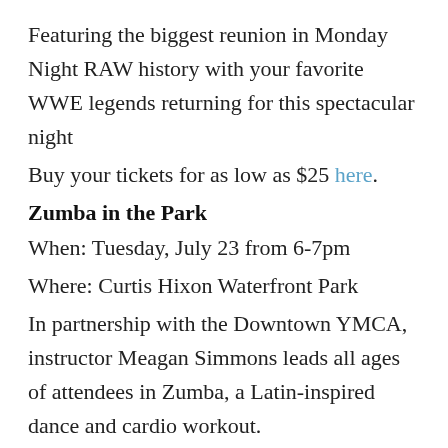Featuring the biggest reunion in Monday Night RAW history with your favorite WWE legends returning for this spectacular night
Buy your tickets for as low as $25 here.
Zumba in the Park
When: Tuesday, July 23 from 6-7pm
Where: Curtis Hixon Waterfront Park
In partnership with the Downtown YMCA, instructor Meagan Simmons leads all ages of attendees in Zumba, a Latin-inspired dance and cardio workout.
Sips Under the Sea